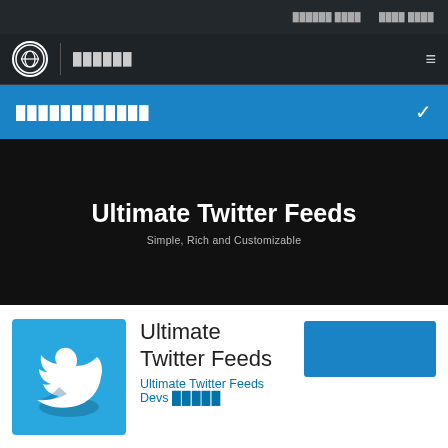██████ ████  ████ ████
██████
████████████
Ultimate Twitter Feeds
Simple, Rich and Customizable
[Figure (logo): Twitter bird logo on blue background]
Ultimate Twitter Feeds
Ultimate Twitter Feeds Devs █████